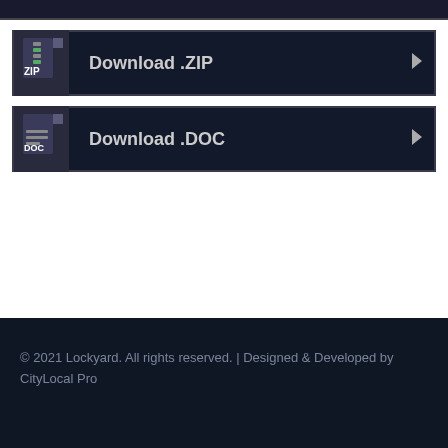Download .ZIP
Download .DOC
© 2021 Lockyard. All rights reserved. | Designed & Developed by CityLocal Pro